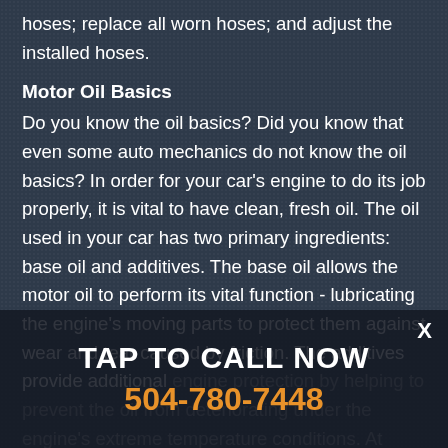hoses; replace all worn hoses; and adjust the installed hoses.
Motor Oil Basics
Do you know the oil basics? Did you know that even some auto mechanics do not know the oil basics? In order for your car's engine to do its job properly, it is vital to have clean, fresh oil. The oil used in your car has two primary ingredients: base oil and additives. The base oil allows the motor oil to perform its vital function - lubricating the engine's moving parts to protect them against wear and tear caused by friction. The additives provide additional engine protection by helping to prevent the oil from deteriorating under the engine's extreme temperature conditions. At Excellent Automotive Service, we are motor oil experts - we will help you with motor oil basics. Call us at 504-780-7448 or visit our auto repair shop in Metairie, LA 70001 today.
TAP TO CALL NOW
504-780-7448